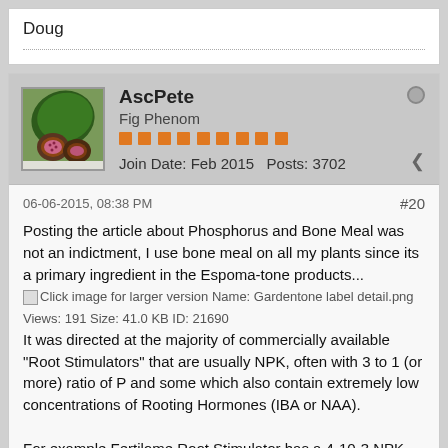Doug
AscPete
Fig Phenom
Join Date: Feb 2015    Posts: 3702
06-06-2015, 08:38 PM  #20
Posting the article about Phosphorus and Bone Meal was not an indictment, I use bone meal on all my plants since its a primary ingredient in the Espoma-tone products...
[Click image for larger version Name: Gardentone label detail.png Views: 191 Size: 41.0 KB ID: 21690]
It was directed at the majority of commercially available "Root Stimulators" that are usually NPK, often with 3 to 1 (or more) ratio of P and some which also contain extremely low concentrations of Rooting Hormones (IBA or NAA).

For example Fertilome Root Stimulator has a 4-10-3 NPK and an IBA concentration of ~ 5.4 PPM when mixed as directed. A dilute, 1 teaspoon MG All Purpose and 1/2